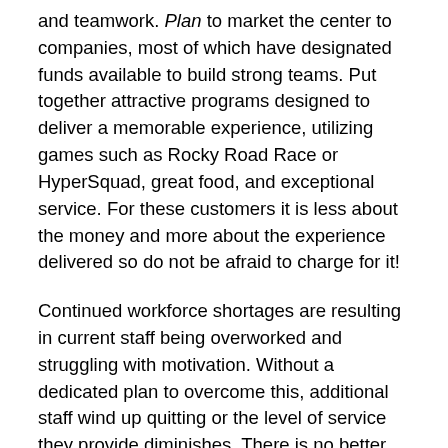and teamwork. Plan to market the center to companies, most of which have designated funds available to build strong teams. Put together attractive programs designed to deliver a memorable experience, utilizing games such as Rocky Road Race or HyperSquad, great food, and exceptional service. For these customers it is less about the money and more about the experience delivered so do not be afraid to charge for it!
Continued workforce shortages are resulting in current staff being overworked and struggling with motivation. Without a dedicated plan to overcome this, additional staff wind up quitting or the level of service they provide diminishes. There is no better way to motivate and show appreciation than to give employees something that allows them to have fun. This holds true for the center staff, but also other businesses in the area.